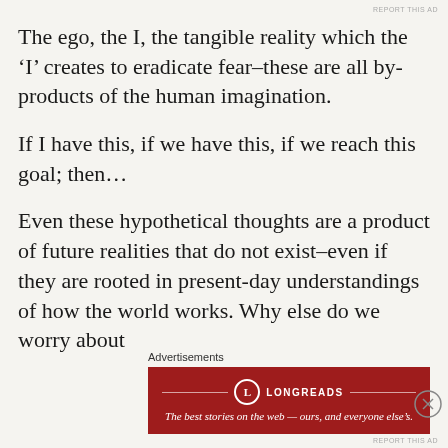REPORT THIS AD
The ego, the I, the tangible reality which the ‘I’ creates to eradicate fear–these are all by-products of the human imagination.
If I have this, if we have this, if we reach this goal; then…
Even these hypothetical thoughts are a product of future realities that do not exist–even if they are rooted in present-day understandings of how the world works. Why else do we worry about
Advertisements
[Figure (other): Longreads advertisement banner with red background, Longreads logo and tagline: The best stories on the web — ours, and everyone else’s.]
REPORT THIS AD